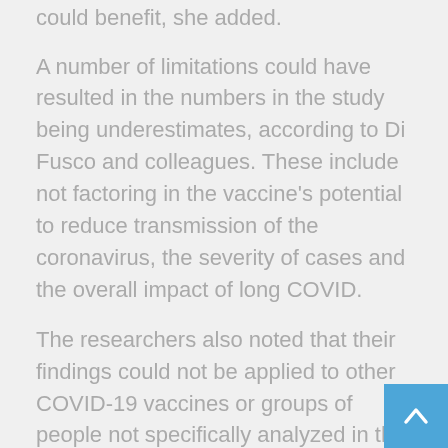could benefit, she added.
A number of limitations could have resulted in the numbers in the study being underestimates, according to Di Fusco and colleagues. These include not factoring in the vaccine's potential to reduce transmission of the coronavirus, the severity of cases and the overall impact of long COVID.
The researchers also noted that their findings could not be applied to other COVID-19 vaccines or groups of people not specifically analyzed in the study.
More information
There's more on COVID-19 vaccines at the US Centers for Disease Control and Prevention.
SOURCE: Journal of Medical Economics, news